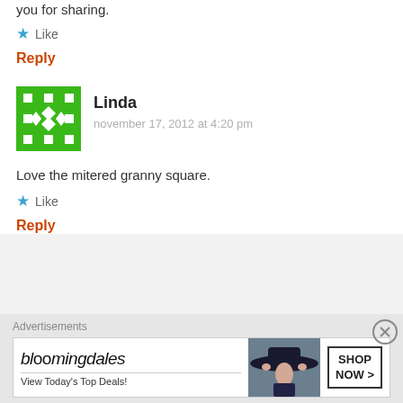you for sharing.
★ Like
Reply
[Figure (illustration): Green square avatar with white geometric pattern (squares and diamonds arranged in a grid)]
Linda
november 17, 2012 at 4:20 pm
Love the mitered granny square.
★ Like
Reply
Advertisements
[Figure (screenshot): Bloomingdales advertisement: 'bloomingdales' logo text, 'View Today's Top Deals!' subtitle, woman in wide-brim hat, 'SHOP NOW >' button]